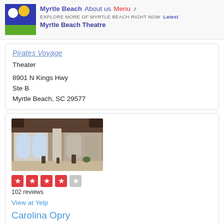Myrtle Beach  About us  Menu  ♪  EXPLORE MORE OF MYRTLE BEACH RIGHT NOW  Latest  Myrtle Beach Theatre
Pirates Voyage
Theater
8901 N Kings Hwy
Ste B
Myrtle Beach, SC 29577
[Figure (photo): Interior of Carolina Opry venue showing lobby with arched windows and ornate columns]
102 reviews
View at Yelp
Carolina Opry
Theater Musicvenues